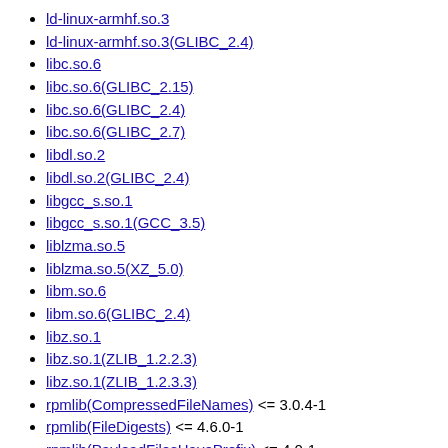ld-linux-armhf.so.3
ld-linux-armhf.so.3(GLIBC_2.4)
libc.so.6
libc.so.6(GLIBC_2.15)
libc.so.6(GLIBC_2.4)
libc.so.6(GLIBC_2.7)
libdl.so.2
libdl.so.2(GLIBC_2.4)
libgcc_s.so.1
libgcc_s.so.1(GCC_3.5)
liblzma.so.5
liblzma.so.5(XZ_5.0)
libm.so.6
libm.so.6(GLIBC_2.4)
libz.so.1
libz.so.1(ZLIB_1.2.2.3)
libz.so.1(ZLIB_1.2.3.3)
rpmlib(CompressedFileNames) <= 3.0.4-1
rpmlib(FileDigests) <= 4.6.0-1
rpmlib(PayloadFilesHavePrefix) <= 4.0-1
rpmlib(PayloadIsXz) <= 5.2-1
License
MIT